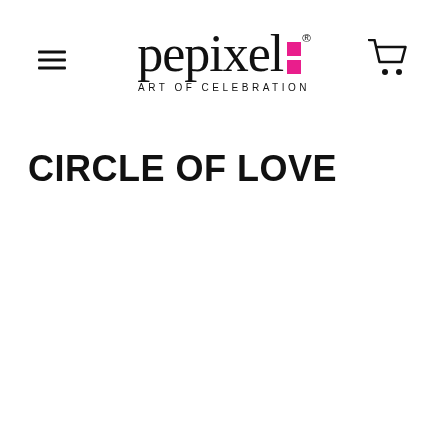pepixel ART OF CELEBRATION
CIRCLE OF LOVE